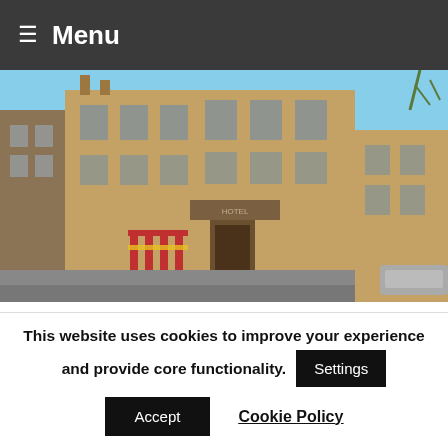≡ Menu
[Figure (photo): Photograph of a sandstone building, the Drummond Arms Hotel in Crieff, at a street corner. The building has multiple stories with large windows. Metal railings and gates are visible at street level. Blue sky visible in the background.]
generations of Crieff folk and visitors to the town, the Drummond Arms Hotel was at the centre of the community.  Whether it was your first legal pint, your cousin's wedding or your
This website uses cookies to improve your experience and provide core functionality.
Settings
Accept
Cookie Policy